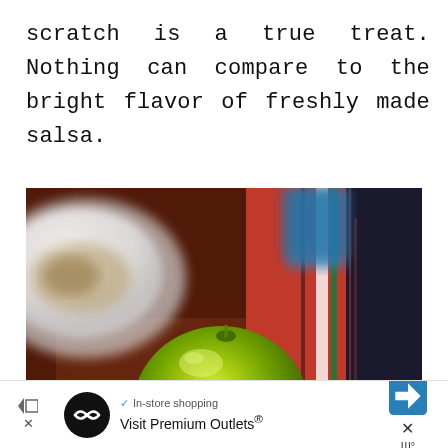scratch is a true treat. Nothing can compare to the bright flavor of freshly made salsa.
[Figure (photo): A green tomatillo sitting on a wooden cutting board, with a blurred white plate on the left, a colorful Mexican blanket/serape on the right, and a blue container in the background. Shallow depth of field, food photography style.]
✓ In-store shopping
Visit Premium Outlets®